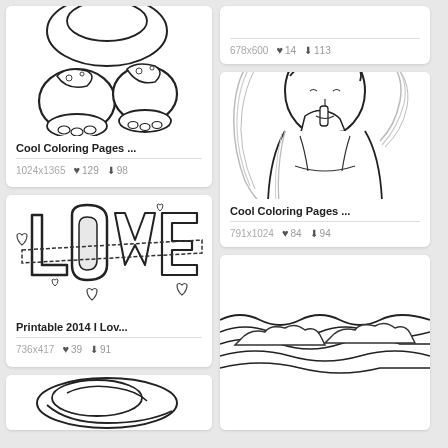[Figure (illustration): Cool coloring page with decorated elephant feet/legs with patterned socks in black and white line art]
Cool Coloring Pages ...
1024x1365  ♥ 129  ⬇ 98
[Figure (illustration): Graffiti-style Love text illustration in black and white line art with hearts]
Printable 2014 I Lov...
736x417  ♥ 39  ⬇ 91
[Figure (illustration): Partial view of another coloring page at bottom left]
678x600  ♥ 14  ⬇ 113
[Figure (illustration): Cool coloring page with line art of a girl with long flowing hair making a shush gesture]
Cool Coloring Pages ...
791x1024  ♥ 84  ⬇ 94
[Figure (illustration): Partial view of a decorative/abstract coloring page at bottom right]